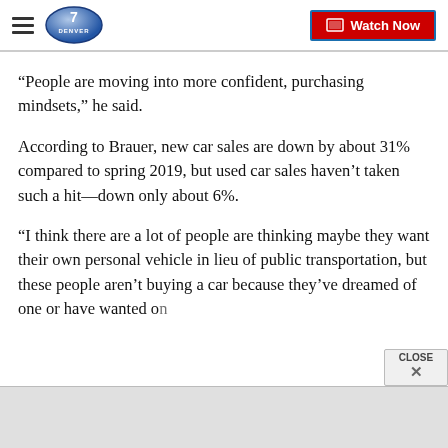Denver 7 — Watch Now
“People are moving into more confident, purchasing mindsets,” he said.
According to Brauer, new car sales are down by about 31% compared to spring 2019, but used car sales haven’t taken such a hit—down only about 6%.
“I think there are a lot of people are thinking maybe they want their own personal vehicle in lieu of public transportation, but these people aren’t buying a car because they’ve dreamed of one or have wanted on[e]…